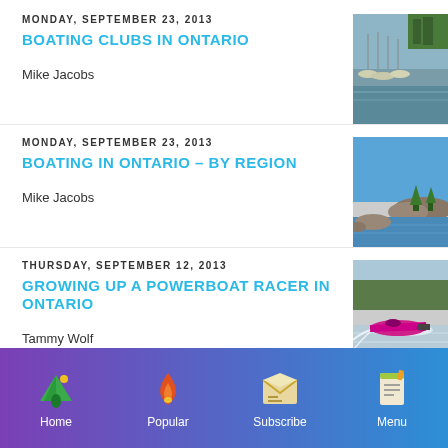MONDAY, SEPTEMBER 23, 2013
BOATING CLUBS IN ONTARIO
Mike Jacobs
[Figure (photo): Marina with boats and trees in background]
MONDAY, SEPTEMBER 23, 2013
BOATING IN ONTARIO – BY REGION
Mike Jacobs
[Figure (photo): Rocky shoreline with blue sky]
THURSDAY, SEPTEMBER 12, 2013
GROWING UP A POWERBOAT RACER IN ONTARIO
Tammy Wolf
[Figure (photo): Pink powerboat racing on water]
Home  Popular  Subscribe  Menu